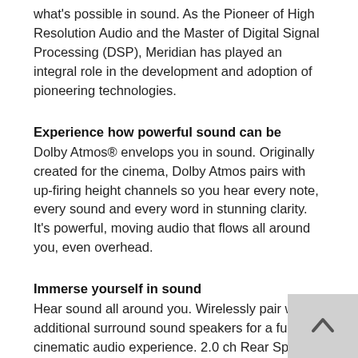what's possible in sound. As the Pioneer of High Resolution Audio and the Master of Digital Signal Processing (DSP), Meridian has played an integral role in the development and adoption of pioneering technologies.
Experience how powerful sound can be
Dolby Atmos® envelops you in sound. Originally created for the cinema, Dolby Atmos pairs with up-firing height channels so you hear every note, every sound and every word in stunning clarity. It's powerful, moving audio that flows all around you, even overhead.
Immerse yourself in sound
Hear sound all around you. Wirelessly pair with additional surround sound speakers for a full cinematic audio experience. 2.0 ch Rear Speaker Kit expansion delivers audio from behind for